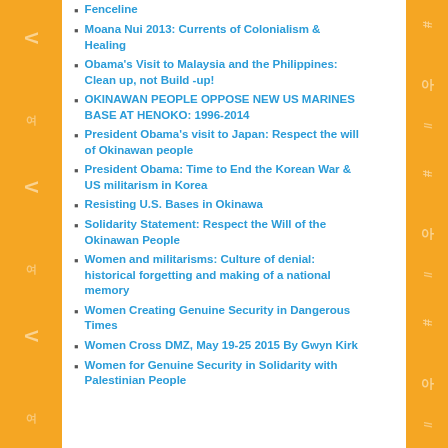Fenceline
Moana Nui 2013: Currents of Colonialism & Healing
Obama's Visit to Malaysia and the Philippines: Clean up, not Build -up!
OKINAWAN PEOPLE OPPOSE NEW US MARINES BASE AT HENOKO: 1996-2014
President Obama's visit to Japan: Respect the will of Okinawan people
President Obama: Time to End the Korean War & US militarism in Korea
Resisting U.S. Bases in Okinawa
Solidarity Statement: Respect the Will of the Okinawan People
Women and militarisms: Culture of denial: historical forgetting and making of a national memory
Women Creating Genuine Security in Dangerous Times
Women Cross DMZ, May 19-25 2015 By Gwyn Kirk
Women for Genuine Security in Solidarity with Palestinian People